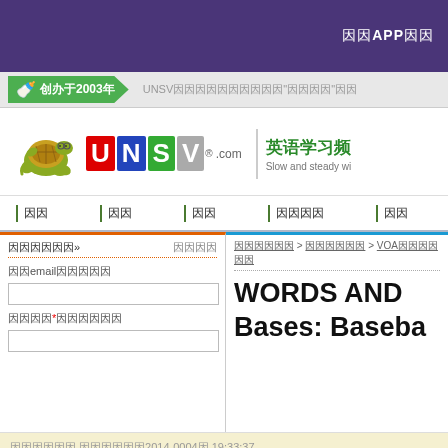下载APP离线
🏅 创办于2003年
UNSV囗囗囗囗囗囗囗囗"囗囗囗囗"囗囗
[Figure (logo): UNSV.com logo with turtle mascot, 英语学习频 tagline, Slow and steady wi...]
Menu navigation bar with vertical bar separators
囗囗囗囗囗囗» 囗囗囗囗
囗囗email囗囗囗囗囗
囗囗囗囗*囗囗囗囗囗囗
囗囗囗囗囗囗 > 囗囗囗囗囗囗 > VOA囗囗囗囗囗囗
WORDS AND Bases: Baseba
囗囗囗囗囗囗 囗囗囗囗囗囗2014-0004囗 19:33:37